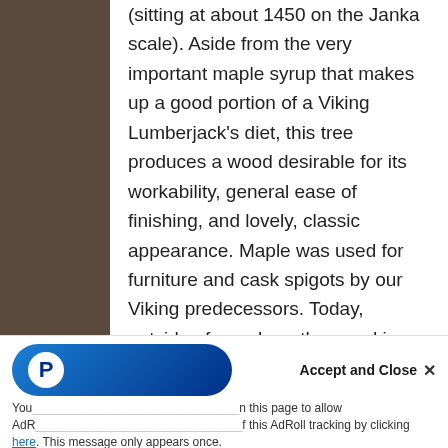(sitting at about 1450 on the Janka scale). Aside from the very important maple syrup that makes up a good portion of a Viking Lumberjack's diet, this tree produces a wood desirable for its workability, general ease of finishing, and lovely, classic appearance. Maple was used for furniture and cask spigots by our Viking predecessors. Today, outside of our shop, the wood is commonly seen in sports - basketball courts, baseball bats, bowling alleys, and even archery bows. The flexibility of maple makes for great bows, although the Viking Lumberjacks of the past and archers of the
You [truncated] on this page to allow AdRo[truncated] of this AdRoll tracking by clicking here. This message only appears once.